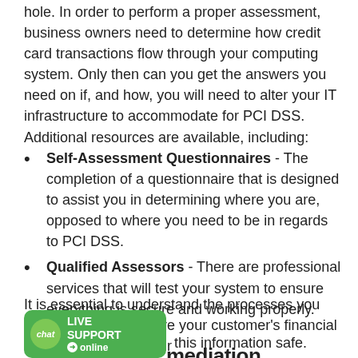hole. In order to perform a proper assessment, business owners need to determine how credit card transactions flow through your computing system. Only then can you get the answers you need on if, and how, you will need to alter your IT infrastructure to accommodate for PCI DSS. Additional resources are available, including:
Self-Assessment Questionnaires - The completion of a questionnaire that is designed to assist you in determining where you are, opposed to where you need to be in regards to PCI DSS.
Qualified Assessors - There are professional services that will test your system to ensure everything is secure and working properly.
It is essential to understand the processes you use to charge and store your customer's financial information as it is your … this information safe.
[Figure (other): Live Support chat widget - green rounded rectangle with chat bubble icon and text LIVE SUPPORT online]
mediation